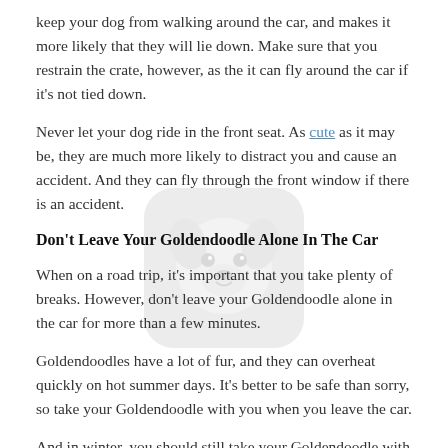keep your dog from walking around the car, and makes it more likely that they will lie down. Make sure that you restrain the crate, however, as the it can fly around the car if it's not tied down.
Never let your dog ride in the front seat. As cute as it may be, they are much more likely to distract you and cause an accident. And they can fly through the front window if there is an accident.
[Figure (logo): Watermark/logo of a dog face (Goldendoodle) in a rounded square, grey toned, semi-transparent overlay.]
Don't Leave Your Goldendoodle Alone In The Car
When on a road trip, it's important that you take plenty of breaks. However, don't leave your Goldendoodle alone in the car for more than a few minutes.
Goldendoodles have a lot of fur, and they can overheat quickly on hot summer days. It's better to be safe than sorry, so take your Goldendoodle with you when you leave the car.
And in winter, you should still take your Goldendoodle with you, as